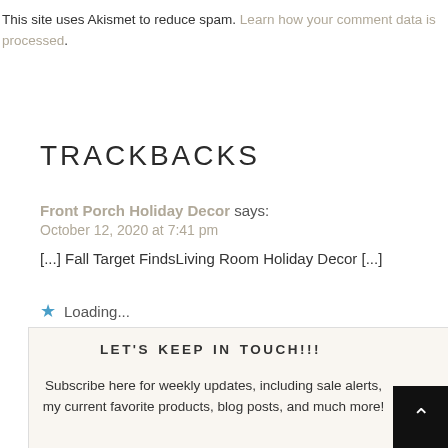This site uses Akismet to reduce spam. Learn how your comment data is processed.
TRACKBACKS
Front Porch Holiday Decor says:
October 12, 2020 at 7:41 pm
[...] Fall Target FindsLiving Room Holiday Decor [...]
Loading...
LET'S KEEP IN TOUCH!!!
Subscribe here for weekly updates, including sale alerts, my current favorite products, blog posts, and much more!